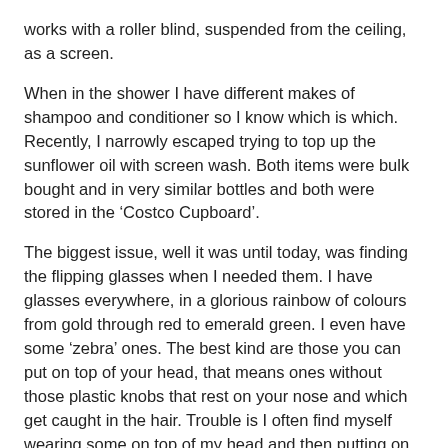works with a roller blind, suspended from the ceiling, as a screen.
When in the shower I have different makes of shampoo and conditioner so I know which is which. Recently, I narrowly escaped trying to top up the sunflower oil with screen wash. Both items were bulk bought and in very similar bottles and both were stored in the ‘Costco Cupboard’.
The biggest issue, well it was until today, was finding the flipping glasses when I needed them. I have glasses everywhere, in a glorious rainbow of colours from gold through red to emerald green. I even have some ‘zebra’ ones. The best kind are those you can put on top of your head, that means ones without those plastic knobs that rest on your nose and which get caught in the hair. Trouble is I often find myself wearing some on top of my head and then putting on another pair to, say, read an email. And eventually, if I’m not strict about it, they all end up in a heap in the same place!